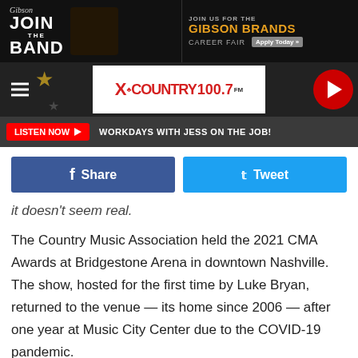[Figure (screenshot): Top advertisement banner for Gibson Brands Career Fair with Join the Band text]
[Figure (screenshot): X Country 100.7 FM radio station header with hamburger menu, stars, logo and play button]
[Figure (screenshot): Listen Now bar with WORKDAYS WITH JESS ON THE JOB text]
f Share
Tweet
it doesn't seem real.
The Country Music Association held the 2021 CMA Awards at Bridgestone Arena in downtown Nashville. The show, hosted for the first time by Luke Bryan, returned to the venue — its home since 2006 — after one year at Music City Center due to the COVID-19 pandemic.
[Figure (screenshot): Bottom advertisement banner for Gibson Brands Career Fair]